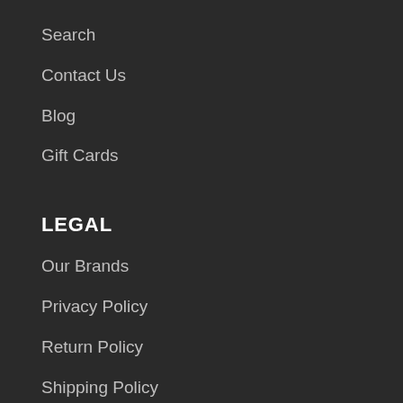Search
Contact Us
Blog
Gift Cards
LEGAL
Our Brands
Privacy Policy
Return Policy
Shipping Policy
Terms of Service
QUESTIONS?